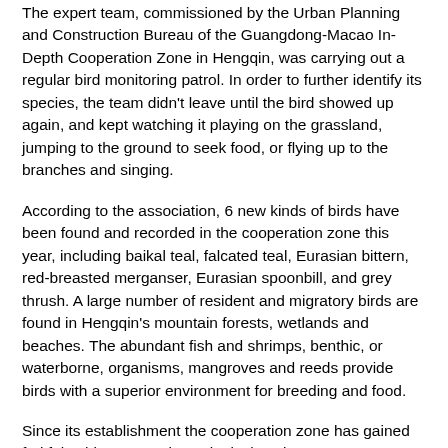The expert team, commissioned by the Urban Planning and Construction Bureau of the Guangdong-Macao In-Depth Cooperation Zone in Hengqin, was carrying out a regular bird monitoring patrol. In order to further identify its species, the team didn't leave until the bird showed up again, and kept watching it playing on the grassland, jumping to the ground to seek food, or flying up to the branches and singing.
According to the association, 6 new kinds of birds have been found and recorded in the cooperation zone this year, including baikal teal, falcated teal, Eurasian bittern, red-breasted merganser, Eurasian spoonbill, and grey thrush. A large number of resident and migratory birds are found in Hengqin's mountain forests, wetlands and beaches. The abundant fish and shrimps, benthic, or waterborne, organisms, mangroves and reeds provide birds with a superior environment for breeding and food.
Since its establishment the cooperation zone has gained fruitful achievements in ecological environment construction and biodiversity protection. Over the past few years, it has completed projects such as the background survey of the terrestrial wild vertebrate resources in Hengqin Island, patrolling and monitoring of key protected wild animals in Mengzhou Wetland (某某某某), survey of